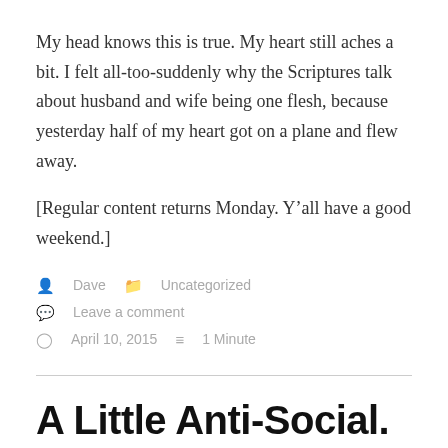My head knows this is true. My heart still aches a bit. I felt all-too-suddenly why the Scriptures talk about husband and wife being one flesh, because yesterday half of my heart got on a plane and flew away.
[Regular content returns Monday. Y’all have a good weekend.]
Dave   Uncategorized   Leave a comment   April 10, 2015   1 Minute
A Little Anti-Social.
Well, I’m back. I won’t bore you with the usual mea